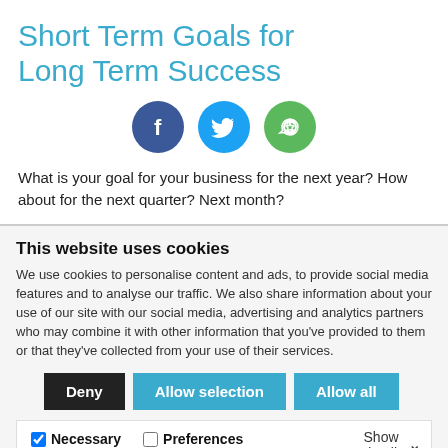Short Term Goals for Long Term Success
[Figure (illustration): Three social media icon circles: Facebook (dark blue with f), Twitter (light blue with bird), and a share/refresh icon (green with circular arrows)]
What is your goal for your business for the next year? How about for the next quarter? Next month?
This website uses cookies
We use cookies to personalise content and ads, to provide social media features and to analyse our traffic. We also share information about your use of our site with our social media, advertising and analytics partners who may combine it with other information that you've provided to them or that they've collected from your use of their services.
Deny | Allow selection | Allow all
Necessary (checked), Preferences (unchecked), Statistics (unchecked), Marketing (unchecked) | Show details